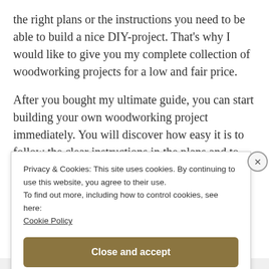the right plans or the instructions you need to be able to build a nice DIY-project. That's why I would like to give you my complete collection of woodworking projects for a low and fair price.
After you bought my ultimate guide, you can start building your own woodworking project immediately. You will discover how easy it is to follow the clear instructions in the plans and to actually understand the
Privacy & Cookies: This site uses cookies. By continuing to use this website, you agree to their use.
To find out more, including how to control cookies, see here: Cookie Policy
Close and accept